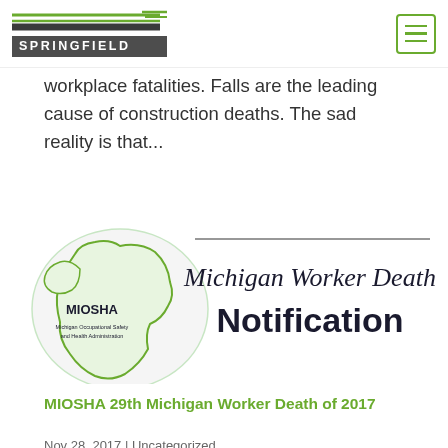SPRINGFIELD
workplace fatalities. Falls are the leading cause of construction deaths. The sad reality is that...
[Figure (logo): MIOSHA Michigan Worker Death Notification logo with Michigan state outline and MIOSHA branding text]
MIOSHA 29th Michigan Worker Death of 2017
Nov 28, 2017 | Uncategorized
We are so saddened to see that MIOSHA h...